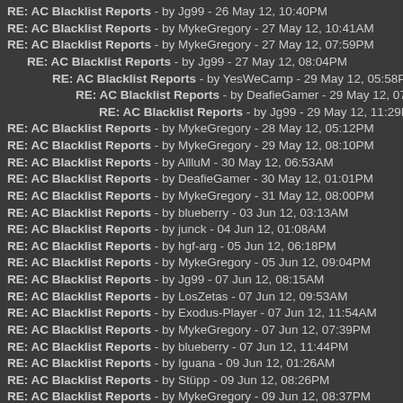RE: AC Blacklist Reports - by Jg99 - 26 May 12, 10:40PM
RE: AC Blacklist Reports - by MykeGregory - 27 May 12, 10:41AM
RE: AC Blacklist Reports - by MykeGregory - 27 May 12, 07:59PM
RE: AC Blacklist Reports - by Jg99 - 27 May 12, 08:04PM
RE: AC Blacklist Reports - by YesWeCamp - 29 May 12, 05:58PM
RE: AC Blacklist Reports - by DeafieGamer - 29 May 12, 07:02PM
RE: AC Blacklist Reports - by Jg99 - 29 May 12, 11:29PM
RE: AC Blacklist Reports - by MykeGregory - 28 May 12, 05:12PM
RE: AC Blacklist Reports - by MykeGregory - 29 May 12, 08:10PM
RE: AC Blacklist Reports - by AllluM - 30 May 12, 06:53AM
RE: AC Blacklist Reports - by DeafieGamer - 30 May 12, 01:01PM
RE: AC Blacklist Reports - by MykeGregory - 31 May 12, 08:00PM
RE: AC Blacklist Reports - by blueberry - 03 Jun 12, 03:13AM
RE: AC Blacklist Reports - by junck - 04 Jun 12, 01:08AM
RE: AC Blacklist Reports - by hgf-arg - 05 Jun 12, 06:18PM
RE: AC Blacklist Reports - by MykeGregory - 05 Jun 12, 09:04PM
RE: AC Blacklist Reports - by Jg99 - 07 Jun 12, 08:15AM
RE: AC Blacklist Reports - by LosZetas - 07 Jun 12, 09:53AM
RE: AC Blacklist Reports - by Exodus-Player - 07 Jun 12, 11:54AM
RE: AC Blacklist Reports - by MykeGregory - 07 Jun 12, 07:39PM
RE: AC Blacklist Reports - by blueberry - 07 Jun 12, 11:44PM
RE: AC Blacklist Reports - by Iguana - 09 Jun 12, 01:26AM
RE: AC Blacklist Reports - by Stüpp - 09 Jun 12, 08:26PM
RE: AC Blacklist Reports - by MykeGregory - 09 Jun 12, 08:37PM
RE: AC Blacklist Reports - by Stüpp - 11 Jun 12, 05:26PM